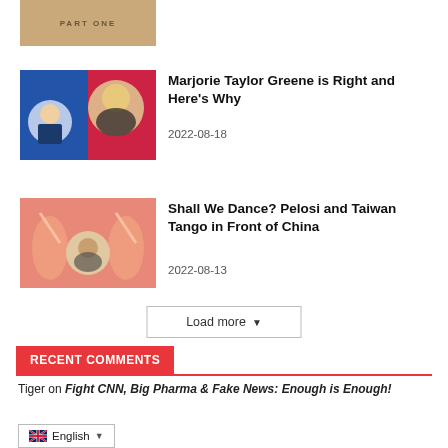[Figure (photo): Partial thumbnail at top showing book/material with text 'PART ONE']
[Figure (photo): Thumbnail showing Marjorie Taylor Greene and Trump in political context, blue and red background]
Marjorie Taylor Greene is Right and Here's Why
2022-08-18
[Figure (photo): Thumbnail showing Pelosi and Taiwan figures in pink/orange artistic style with a man in center circle]
Shall We Dance? Pelosi and Taiwan Tango in Front of China
2022-08-13
Load more
RECENT COMMENTS
Tiger on Fight CNN, Big Pharma & Fake News: Enough is Enough!
English